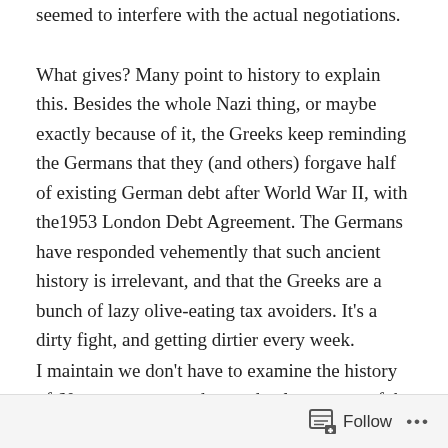seemed to interfere with the actual negotiations.
What gives? Many point to history to explain this. Besides the whole Nazi thing, or maybe exactly because of it, the Greeks keep reminding the Germans that they (and others) forgave half of existing German debt after World War II, with the1953 London Debt Agreement. The Germans have responded vehemently that such ancient history is irrelevant, and that the Greeks are a bunch of lazy olive-eating tax avoiders. It's a dirty fight, and getting dirtier every week.
I maintain we don't have to examine the history of 60 years ago to understand at least some of the moral anxiety. Instead we should look a mere 7 years ago, at the enormous German bailout of their own banks, which had
Follow